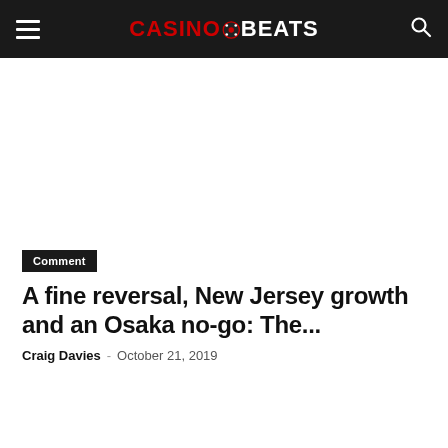CASINOBEATS
Comment
A fine reversal, New Jersey growth and an Osaka no-go: The...
Craig Davies  -  October 21, 2019